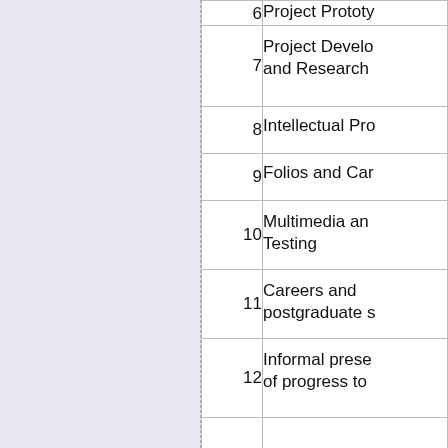| # | Topic |
| --- | --- |
| 6 | Project Prototy... |
| 7 | Project Develo... and Research |
| 8 | Intellectual Pro... |
| 9 | Folios and Car... |
| 10 | Multimedia an... Testing |
| 11 | Careers and postgraduate s... |
| 12 | Informal prese... of progress to... |
|  | SWOT VAC |
|  |  |